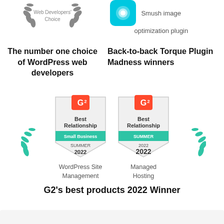[Figure (illustration): Web Developers Choice award laurel badge (gray) with text 'Web Developers Choice']
The number one choice of WordPress web developers
[Figure (illustration): Smush image optimization plugin logo (teal circle with eye icon)]
Back-to-back Torque Plugin Madness winners
[Figure (illustration): G2 Best Relationship Small Business Summer 2022 badge for WordPress Site Management]
[Figure (illustration): G2 Best Relationship Summer 2022 badge for Managed Hosting]
WordPress Site Management
Managed Hosting
G2's best products 2022 Winner